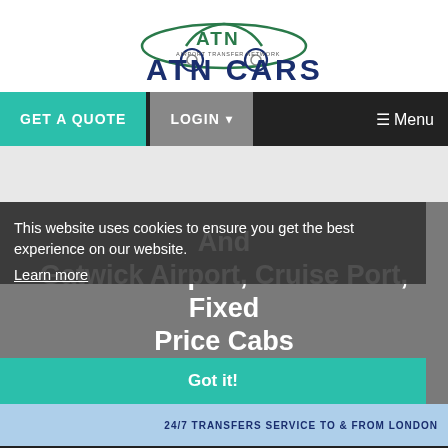[Figure (logo): ATN Cars logo with car illustration and text reading AIRPORT TRANSFER NETWORK above ATN CARS]
GET A QUOTE   LOGIN ▾   ☰ Menu
[Figure (screenshot): Gray advertisement band area (empty/light gray background)]
This website uses cookies to ensure you get the best experience on our website.
Learn more
And Gatwick Airport, Cruise Port, Fixed Price Cabs
Got it!
24/7 TRANSFERS SERVICE TO & FROM LONDON
+